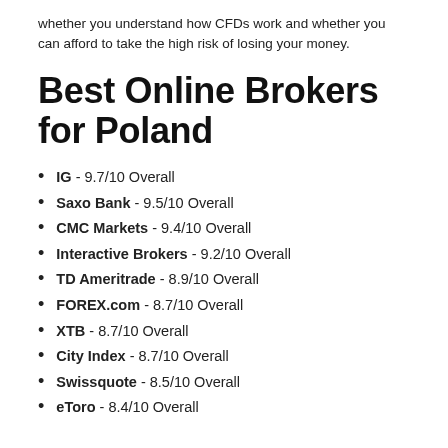whether you understand how CFDs work and whether you can afford to take the high risk of losing your money.
Best Online Brokers for Poland
IG - 9.7/10 Overall
Saxo Bank - 9.5/10 Overall
CMC Markets - 9.4/10 Overall
Interactive Brokers - 9.2/10 Overall
TD Ameritrade - 8.9/10 Overall
FOREX.com - 8.7/10 Overall
XTB - 8.7/10 Overall
City Index - 8.7/10 Overall
Swissquote - 8.5/10 Overall
eToro - 8.4/10 Overall